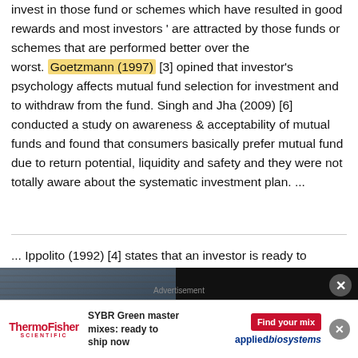invest in those fund or schemes which have resulted in good rewards and most investors ' are attracted by those funds or schemes that are performed better over the worst. Goetzmann (1997) [3] opined that investor's psychology affects mutual fund selection for investment and to withdraw from the fund. Singh and Jha (2009) [6] conducted a study on awareness & acceptability of mutual funds and found that consumers basically prefer mutual fund due to return potential, liquidity and safety and they were not totally aware about the systematic investment plan. ...
... Ippolito (1992) [4] states that an investor is ready to
[Figure (screenshot): Video overlay with thumbnail showing students in a library and text panel: 'How you can use Employer Branding as part of your recruitment strategy in academia' on dark background with close button]
mutual funds and found that consumers basically prefer mutual fund due to return potential, liquidity and safety and they were not totally aware about the systematic
[Figure (other): Advertisement for ThermoFisher Scientific: SYBR Green master mixes: ready to ship now, applied biosystems, Find your mix button]